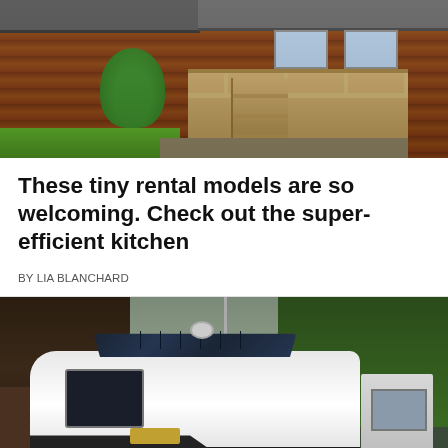[Figure (photo): Exterior photo of red/brown wooden cabin with deck, stairs, and green shrubs in foreground]
These tiny rental models are so welcoming. Check out the super-efficient kitchen
BY LIA BLANCHARD
[Figure (photo): White travel trailer/RV with solar panels on roof parked next to a cabin, with green trees and grass in background]
© Mobile Adventurers   About Ads   Terms   Privacy   Do Not Sell My Info